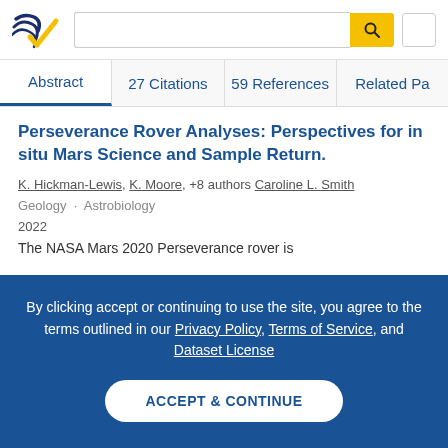[Figure (logo): Semantic Scholar logo — stylized dark blue and gold checkmark/arrow with navy swoosh lines]
Abstract | 27 Citations | 59 References | Related Pa…
Perseverance Rover Analyses: Perspectives for in situ Mars Science and Sample Return.
K. Hickman-Lewis, K. Moore, +8 authors Caroline L. Smith
Geology · Astrobiology
2022
The NASA Mars 2020 Perseverance rover is
By clicking accept or continuing to use the site, you agree to the terms outlined in our Privacy Policy, Terms of Service, and Dataset License
ACCEPT & CONTINUE